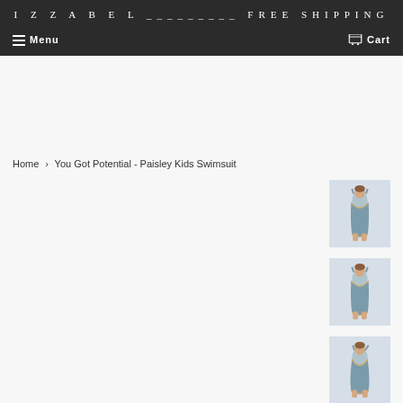IZZABEL _________ FREE SHIPPING
Menu   Cart
Home › You Got Potential - Paisley Kids Swimsuit
[Figure (photo): Thumbnail of a kids one-piece swimsuit in blue/paisley pattern, front view]
[Figure (photo): Thumbnail of a kids one-piece swimsuit in blue/paisley pattern, front view slightly different angle]
[Figure (photo): Thumbnail of a kids one-piece swimsuit in blue/paisley pattern, side/three-quarter view]